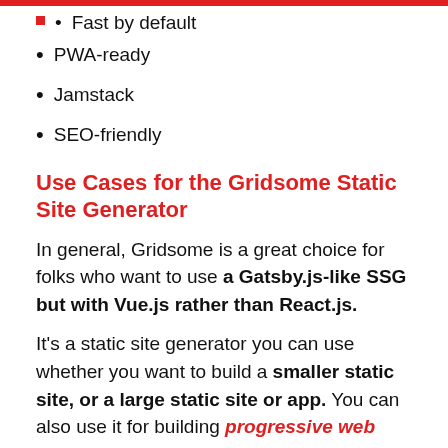Fast by default
PWA-ready
Jamstack
SEO-friendly
Use Cases for the Gridsome Static Site Generator
In general, Gridsome is a great choice for folks who want to use a Gatsby.js-like SSG but with Vue.js rather than React.js.
It's a static site generator you can use whether you want to build a smaller static site, or a large static site or app. You can also use it for building progressive web apps for your headless CMS